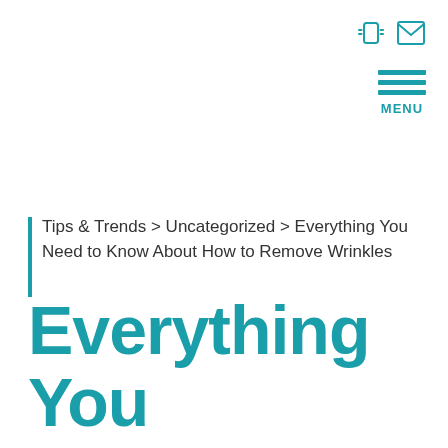[Figure (illustration): Top-right corner icons: a mobile phone vibrating icon and an envelope/mail icon, both in teal color]
[Figure (illustration): Hamburger menu icon with three teal horizontal lines and MENU label below in teal]
Tips & Trends > Uncategorized > Everything You Need to Know About How to Remove Wrinkles
Everything You